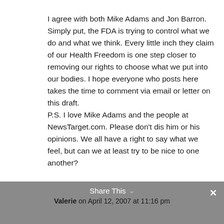I agree with both Mike Adams and Jon Barron. Simply put, the FDA is trying to control what we do and what we think. Every little inch they claim of our Health Freedom is one step closer to removing our rights to choose what we put into our bodies. I hope everyone who posts here takes the time to comment via email or letter on this draft.
P.S. I love Mike Adams and the people at NewsTarget.com. Please don't dis him or his opinions. We all have a right to say what we feel, but can we at least try to be nice to one another?
Share This   Valerie on April 12, 2007 at 11:16 pm